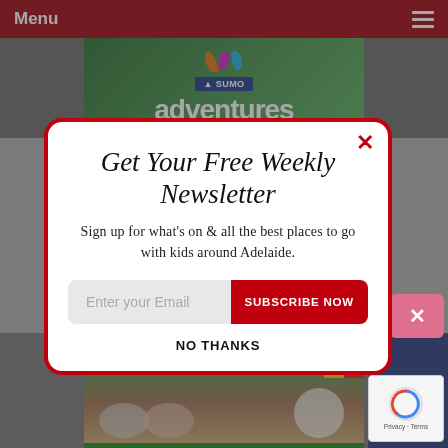Menu
[Figure (screenshot): Website screenshot with dark red navigation bar showing 'Menu' text and hamburger icon, partially visible ads and content in background]
Get Your Free Weekly Newsletter
Sign up for what's on & all the best places to go with kids around Adelaide.
NO THANKS